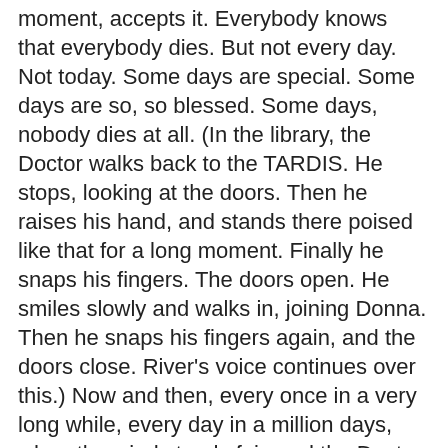moment, accepts it. Everybody knows that everybody dies. But not every day. Not today. Some days are special. Some days are so, so blessed. Some days, nobody dies at all. (In the library, the Doctor walks back to the TARDIS. He stops, looking at the doors. Then he raises his hand, and stands there poised like that for a long moment. Finally he snaps his fingers. The doors open. He smiles slowly and walks in, joining Donna. Then he snaps his fingers again, and the doors close. River's voice continues over this.) Now and then, every once in a very long while, every day in a million days, when the wind stands fair, and the Doctor comes to call... everybody lives."
Author: Steven Moffat
44. "Morals, principles and laws are when faith is reduced to standards and those standards basically just bind us, and we become prejudicial, racist, self-serving when we're